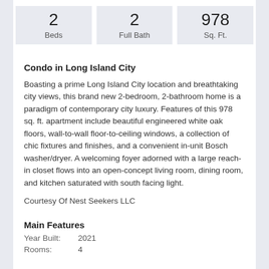| Beds | Full Bath | Sq. Ft. |
| --- | --- | --- |
| 2 | 2 | 978 |
Condo in Long Island City
Boasting a prime Long Island City location and breathtaking city views, this brand new 2-bedroom, 2-bathroom home is a paradigm of contemporary city luxury. Features of this 978 sq. ft. apartment include beautiful engineered white oak floors, wall-to-wall floor-to-ceiling windows, a collection of chic fixtures and finishes, and a convenient in-unit Bosch washer/dryer. A welcoming foyer adorned with a large reach-in closet flows into an open-concept living room, dining room, and kitchen saturated with south facing light.
Courtesy Of Nest Seekers LLC
Main Features
Year Built:    2021
Rooms:   4